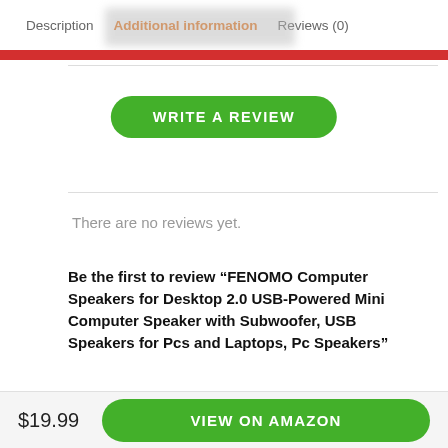Description  Additional information  Reviews (0)
[Figure (screenshot): Blurred logo image in the header area]
WRITE A REVIEW
There are no reviews yet.
Be the first to review “FENOMO Computer Speakers for Desktop 2.0 USB-Powered Mini Computer Speaker with Subwoofer, USB Speakers for Pcs and Laptops, Pc Speakers”
$19.99  VIEW ON AMAZON